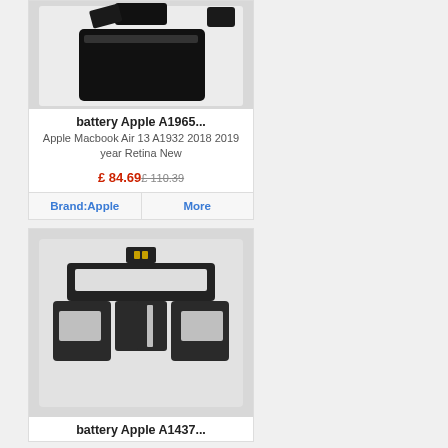[Figure (photo): Laptop battery for Apple A1965 shown from above on white background]
battery Apple A1965...
Apple Macbook Air 13 A1932 2018 2019 year Retina New
£ 84.69 £ 110.39
Brand:Apple   More
[Figure (photo): Flat laptop battery for Apple A1437 shown from above on light background]
battery Apple A1437...